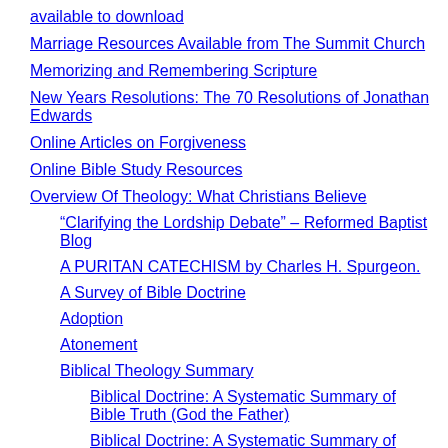available to download
Marriage Resources Available from The Summit Church
Memorizing and Remembering Scripture
New Years Resolutions: The 70 Resolutions of Jonathan Edwards
Online Articles on Forgiveness
Online Bible Study Resources
Overview Of Theology: What Christians Believe
“Clarifying the Lordship Debate” – Reformed Baptist Blog
A PURITAN CATECHISM by Charles H. Spurgeon.
A Survey of Bible Doctrine
Adoption
Atonement
Biblical Theology Summary
Biblical Doctrine: A Systematic Summary of Bible Truth (God the Father)
Biblical Doctrine: A Systematic Summary of Bible Truth (God’s Word: Bibliology)
Church
Church History & the Lord’s Table (Part 1) By Nathan Busenita